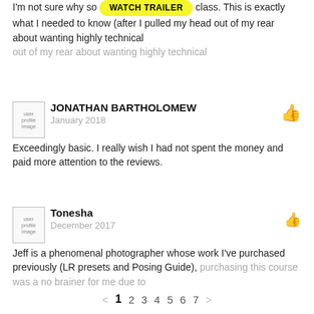I'm not sure why so [WATCH TRAILER] class. This is exactly what I needed to know (after I pulled my head out of my rear about wanting highly technical
[Figure (photo): User profile image placeholder for Jonathan Bartholomew]
JONATHAN BARTHOLOMEW
January 2018
[Figure (other): Thumbs up icon]
Exceedingly basic. I really wish I had not spent the money and paid more attention to the reviews.
[Figure (photo): User profile image placeholder for Tonesha]
Tonesha
December 2017
[Figure (other): Thumbs up icon]
Jeff is a phenomenal photographer whose work I've purchased previously (LR presets and Posing Guide), purchasing this course was a no brainer for me due to
< 1 2 3 4 5 6 7 >